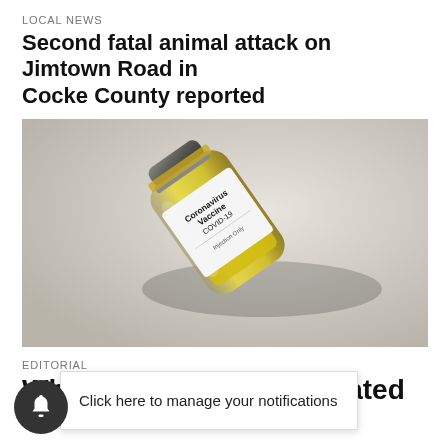LOCAL NEWS
Second fatal animal attack on Jimtown Road in Cocke County reported
[Figure (photo): A glass vial of Coronavirus Vaccine COVID-19 Injection Only, lying on a light gray surface with shadow]
EDITORIAL
Why my son is unvaccinated
Click here to manage your notifications